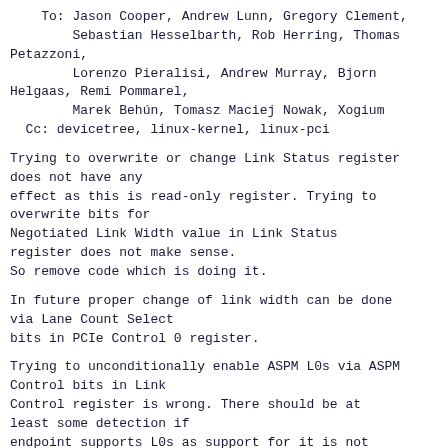To: Jason Cooper, Andrew Lunn, Gregory Clement,
        Sebastian Hesselbarth, Rob Herring, Thomas Petazzoni,
        Lorenzo Pieralisi, Andrew Murray, Bjorn Helgaas, Remi Pommarel,
        Marek Behún, Tomasz Maciej Nowak, Xogium
  Cc: devicetree, linux-kernel, linux-pci
Trying to overwrite or change Link Status register does not have any
effect as this is read-only register. Trying to overwrite bits for
Negotiated Link Width value in Link Status register does not make sense.
So remove code which is doing it.
In future proper change of link width can be done via Lane Count Select
bits in PCIe Control 0 register.
Trying to unconditionally enable ASPM L0s via ASPM Control bits in Link
Control register is wrong. There should be at least some detection if
endpoint supports L0s as support for it is not mandatory.
Moreover ASPM Control bits in Link Control register are controlled by
pcie/aspm.c code which sets it according to system